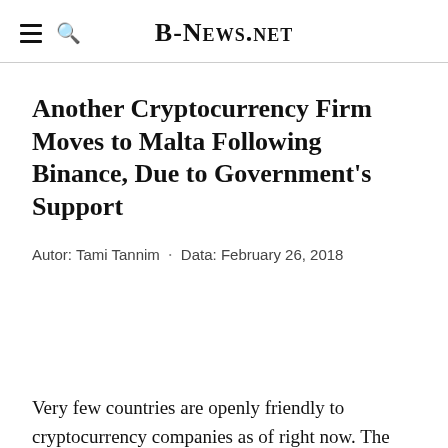B-News.net
Another Cryptocurrency Firm Moves to Malta Following Binance, Due to Government's Support
Autor: Tami Tannim · Data: February 26, 2018
Very few countries are openly friendly to cryptocurrency companies as of right now. The lack